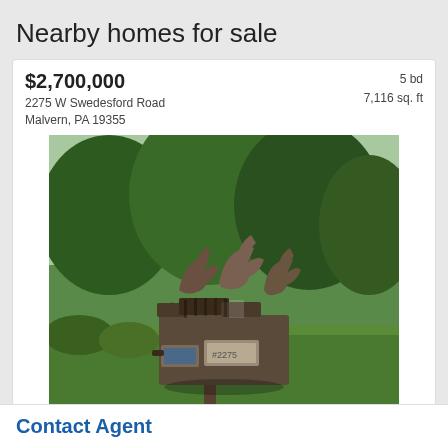Nearby homes for sale
$2,700,000
2275 W Swedesford Road
Malvern, PA 19355
5 bd
7,116 sq. ft
[Figure (photo): Photo of decorative horse-shaped mailboxes on a post in a green yard with trees in background. Address 2275 visible on mailbox.]
Courtesy: RE/MAX Preferred - West Chester
$895,000
2310 Pineview Drive
4 bd
2,981 sq. ft
Contact Agent